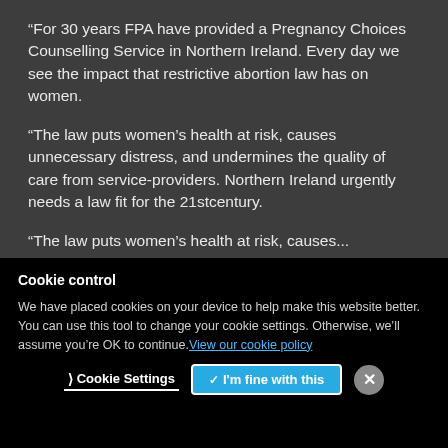"For 30 years FPA have provided a Pregnancy Choices Counselling Service in Northern Ireland. Every day we see the impact that restrictive abortion law has on women.
“The law puts women’s health at risk, causes unnecessary distress, and undermines the quality of care from service-providers. Northern Ireland urgently needs a law fit for the 21stcentury.
"The law puts women's health at risk, causes...
Cookie control
We have placed cookies on your device to help make this website better. You can use this tool to change your cookie settings. Otherwise, we’ll assume you’re OK to continue. View our cookie policy